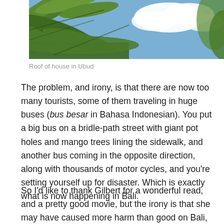[Figure (photo): Photo of tropical banana/palm leaves with blue sky and white clouds visible — rooftop view in Ubud, Bali]
Roof of house in Ubud
The problem, and irony, is that there are now too many tourists, some of them traveling in huge buses (bus besar in Bahasa Indonesian). You put a big bus on a bridle-path street with giant pot holes and mango trees lining the sidewalk, and another bus coming in the opposite direction, along with thousands of motor cycles, and you're setting yourself up for disaster. Which is exactly what is now happening in Bali.
So I'd like to thank Gilbert for a wonderful read, and a pretty good movie, but the irony is that she may have caused more harm than good on Bali, the island of gods and demons.